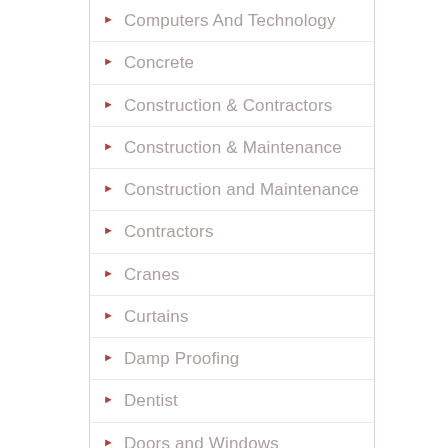Computers And Technology
Concrete
Construction & Contractors
Construction & Maintenance
Construction and Maintenance
Contractors
Cranes
Curtains
Damp Proofing
Dentist
Doors and Windows
Electrical Engineer
Electricians